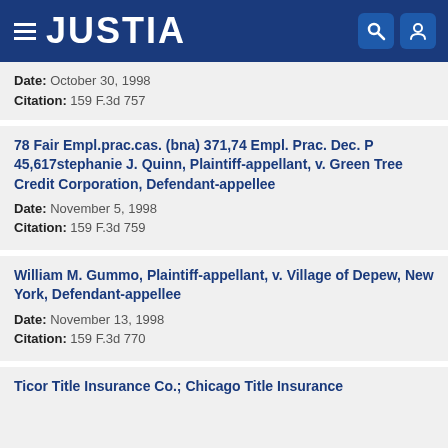JUSTIA
Date: October 30, 1998
Citation: 159 F.3d 757
78 Fair Empl.prac.cas. (bna) 371,74 Empl. Prac. Dec. P 45,617stephanie J. Quinn, Plaintiff-appellant, v. Green Tree Credit Corporation, Defendant-appellee
Date: November 5, 1998
Citation: 159 F.3d 759
William M. Gummo, Plaintiff-appellant, v. Village of Depew, New York, Defendant-appellee
Date: November 13, 1998
Citation: 159 F.3d 770
Ticor Title Insurance Co.; Chicago Title Insurance